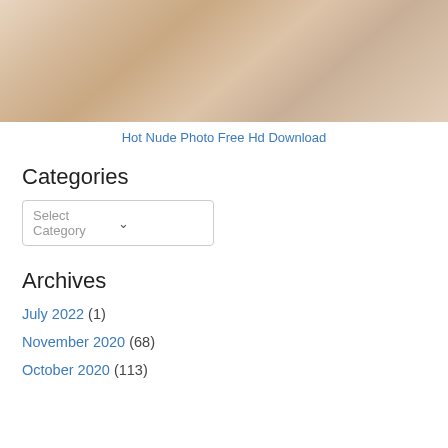[Figure (photo): Close-up photo of a person's skin/body, warm beige tones]
Hot Nude Photo Free Hd Download
Categories
Select Category
Archives
July 2022 (1)
November 2020 (68)
October 2020 (113)